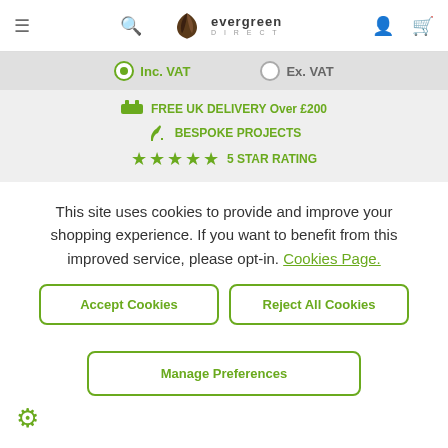Evergreen Direct - navigation header with menu, search, account, and cart icons
Inc. VAT  Ex. VAT
FREE UK DELIVERY Over £200  BESPOKE PROJECTS  ★★★★★ 5 STAR RATING
This site uses cookies to provide and improve your shopping experience. If you want to benefit from this improved service, please opt-in. Cookies Page.
Accept Cookies
Reject All Cookies
Manage Preferences